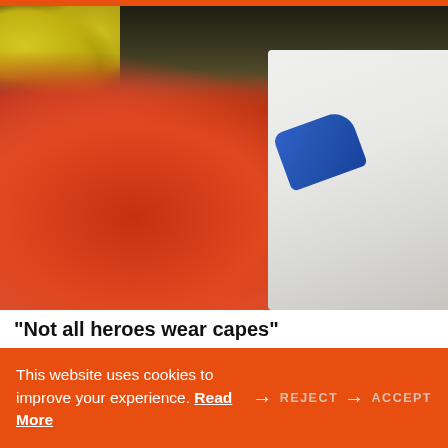[Figure (photo): A person in a white shirt and blue gloves stocking packaged produce (strawberries/tomatoes in plastic clamshell containers) at a grocery store. Shelves with additional produce visible in background.]
“Not all heroes wear capes”
This website uses cookies to improve your experience. Read More
→ REJECT → ACCEPT